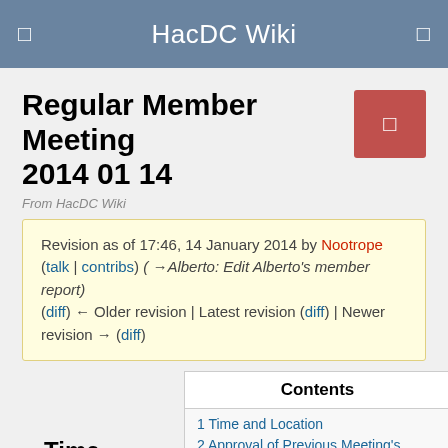HacDC Wiki
Regular Member Meeting 2014 01 14
From HacDC Wiki
Revision as of 17:46, 14 January 2014 by Nootrope (talk | contribs) (→Alberto: Edit Alberto's member report)
(diff) ← Older revision | Latest revision (diff) | Newer revision → (diff)
Contents
1 Time and Location
2 Approval of Previous Meeting's Minutes
Time